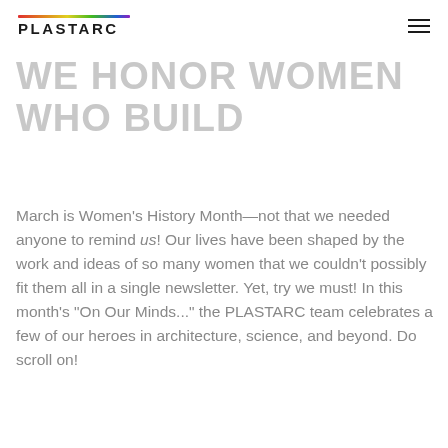PLASTARC
WE HONOR WOMEN WHO BUILD
March is Women's History Month—not that we needed anyone to remind us! Our lives have been shaped by the work and ideas of so many women that we couldn't possibly fit them all in a single newsletter. Yet, try we must! In this month's "On Our Minds..." the PLASTARC team celebrates a few of our heroes in architecture, science, and beyond. Do scroll on!